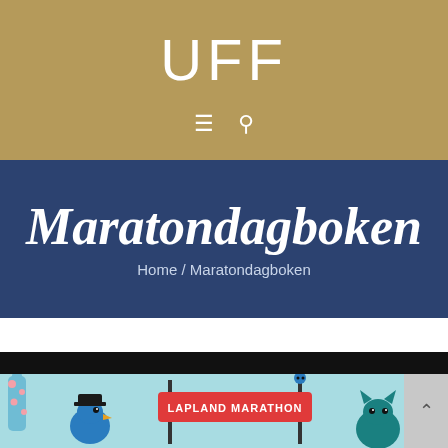UFF
[Figure (screenshot): Navigation icons: hamburger menu and search icon]
Maratondagboken
Home / Maratondagboken
[Figure (illustration): Colorful illustrated book cover showing cartoon animals at a 'LAPLAND MARATHON' finish line banner on a light blue background. A tall spotted giraffe-like creature, a blue bird with hat, a cat on a pole holding the banner, and a teal cat on the right side are visible.]